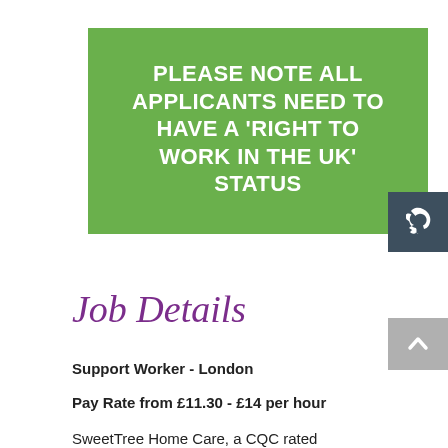PLEASE NOTE ALL APPLICANTS NEED TO HAVE A 'RIGHT TO WORK IN THE UK' STATUS
Job Details
Support Worker - London
Pay Rate from £11.30 - £14 per hour
SweetTree Home Care, a CQC rated